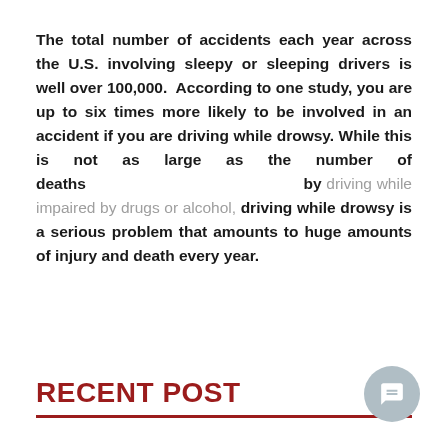The total number of accidents each year across the U.S. involving sleepy or sleeping drivers is well over 100,000. According to one study, you are up to six times more likely to be involved in an accident if you are driving while drowsy. While this is not as large as the number of deaths by driving while impaired by drugs or alcohol, driving while drowsy is a serious problem that amounts to huge amounts of injury and death every year.
RECENT POST